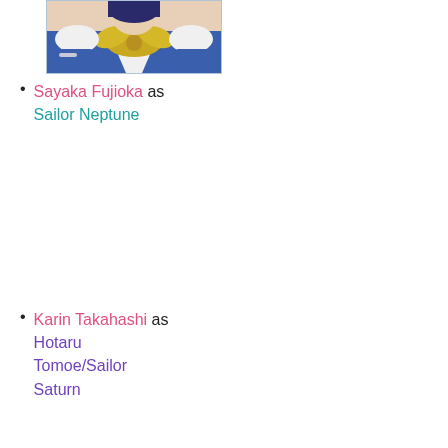[Figure (photo): Photo of a person in a Sailor Neptune costume — blue and white sailor uniform with a yellow/gold bow/scarf.]
Sayaka Fujioka as Sailor Neptune
Karin Takahashi as Hotaru Tomoe/Sailor Saturn